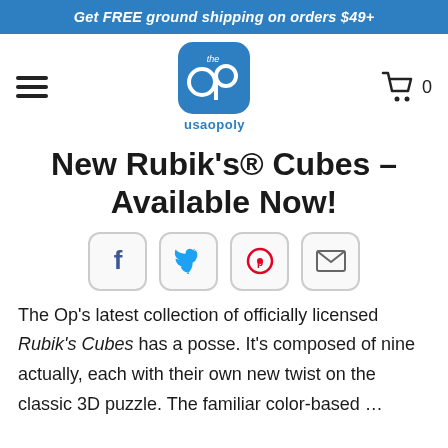Get FREE ground shipping on orders $49+
[Figure (logo): The Op / usaopoly logo — blue rounded square with 'the op' text and two circles, 'usaopoly' below in blue]
New Rubik's® Cubes – Available Now!
[Figure (infographic): Four social share buttons: Facebook (f), Twitter (bird), Pinterest (P), Email (envelope)]
The Op's latest collection of officially licensed Rubik's Cubes has a posse. It's composed of nine actually, each with their own new twist on the classic 3D puzzle. The familiar color-based …